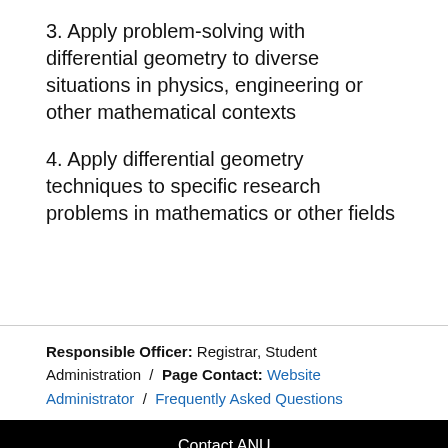3. Apply problem-solving with differential geometry to diverse situations in physics, engineering or other mathematical contexts
4. Apply differential geometry techniques to specific research problems in mathematics or other fields
Responsible Officer: Registrar, Student Administration / Page Contact: Website Administrator / Frequently Asked Questions
Contact ANU
Campus Map
Copyright
Disclaimer
Privacy
Freedom of Information
+61 2 6125 5111